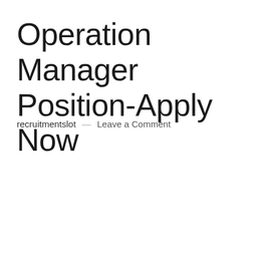Operation Manager Position-Apply Now
recruitmentslot — Leave a Comment